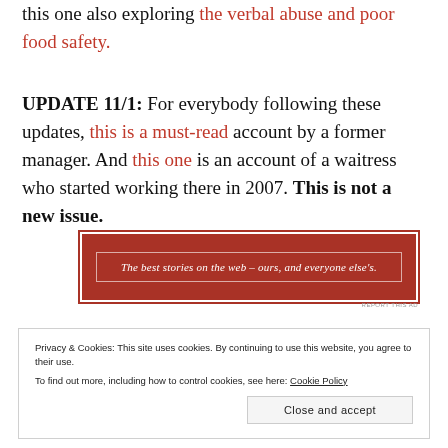this one also exploring the verbal abuse and poor food safety.
UPDATE 11/1: For everybody following these updates, this is a must-read account by a former manager. And this one is an account of a waitress who started working there in 2007. This is not a new issue.
[Figure (other): Red advertisement banner with white text: 'The best stories on the web — ours, and everyone else's.' with a 'REPORT THIS AD' label below.]
Privacy & Cookies: This site uses cookies. By continuing to use this website, you agree to their use. To find out more, including how to control cookies, see here: Cookie Policy
Close and accept